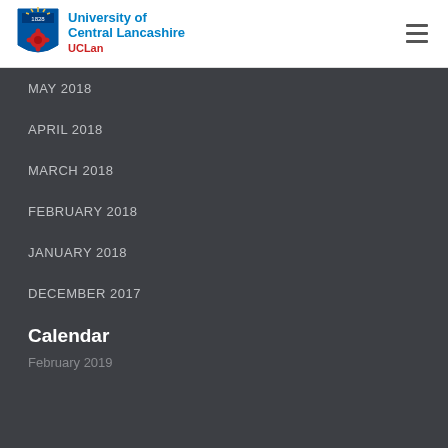[Figure (logo): University of Central Lancashire (UCLan) shield logo with text]
MAY 2018
APRIL 2018
MARCH 2018
FEBRUARY 2018
JANUARY 2018
DECEMBER 2017
Calendar
February 2019